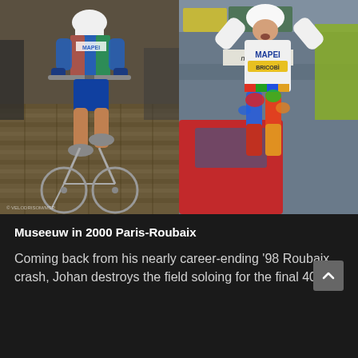[Figure (photo): Two side-by-side photos of cyclist Johan Museeuw. Left photo: Museeuw in MAPEI kit racing on cobblestones during Paris-Roubaix 2000, hunched over the handlebars. Right photo: Museeuw celebrating a victory with arms raised, wearing MAPEI-BRICOBÌ jersey, with a 'Nieuwsblad' banner visible in background.]
Museeuw in 2000 Paris-Roubaix
Coming back from his nearly career-ending '98 Roubaix crash, Johan destroys the field soloing for the final 40k.